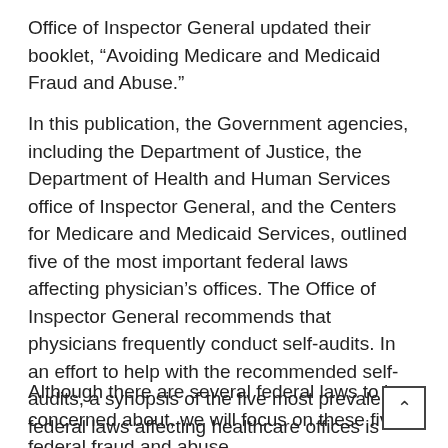Office of Inspector General updated their booklet, “Avoiding Medicare and Medicaid Fraud and Abuse.”
In this publication, the Government agencies, including the Department of Justice, the Department of Health and Human Services office of Inspector General, and the Centers for Medicare and Medicaid Services, outlined five of the most important federal laws affecting physician’s offices. The Office of Inspector General recommends that physicians frequently conduct self-audits. In an effort to help with the recommended self-audits, a synopsis of the five most prevalent federal laws affecting healthcare offices is provided here.
Although there are several federal laws to be concerned about, we will focus on these five federal fraud and abuse